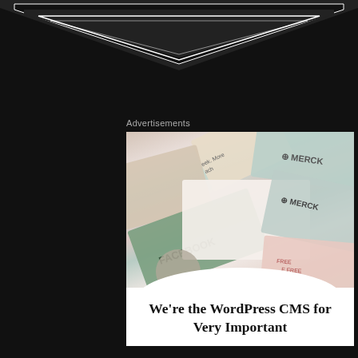[Figure (illustration): Diamond/chevron shaped graphic in black and white at the top of the page]
Advertisements
[Figure (photo): Advertisement image showing overlapping cards/publications including MERCK and FACEBOOK branding, with text 'We're the WordPress CMS for Very Important']